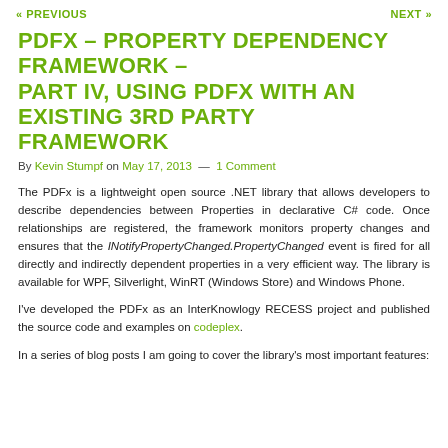« PREVIOUS    NEXT »
PDFX – PROPERTY DEPENDENCY FRAMEWORK – PART IV, USING PDFX WITH AN EXISTING 3RD PARTY FRAMEWORK
By Kevin Stumpf on May 17, 2013  —  1 Comment
The PDFx is a lightweight open source .NET library that allows developers to describe dependencies between Properties in declarative C# code. Once relationships are registered, the framework monitors property changes and ensures that the INotifyPropertyChanged.PropertyChanged event is fired for all directly and indirectly dependent properties in a very efficient way. The library is available for WPF, Silverlight, WinRT (Windows Store) and Windows Phone.
I've developed the PDFx as an InterKnowlogy RECESS project and published the source code and examples on codeplex.
In a series of blog posts I am going to cover the library's most important features: